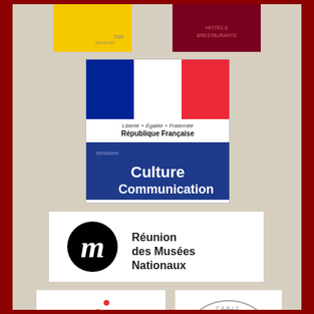[Figure (logo): Yellow logo with small text, top left area]
[Figure (logo): Dark red/maroon Hotels & Restaurants logo, top right]
[Figure (logo): French Republic logo: Liberte Egalite Fraternite, Republique Francaise, Ministere de la Culture et Communication]
[Figure (logo): Reunion des Musees Nationaux logo with cursive m in black circle]
[Figure (logo): PARIS Office du Tourisme et des Congres logo with colored dots]
[Figure (logo): Paris American Academy (PA) circular seal logo]
[Figure (logo): RATP logo with green wave symbol]
[Figure (logo): Paris Fashion logo in bold black with italic script]